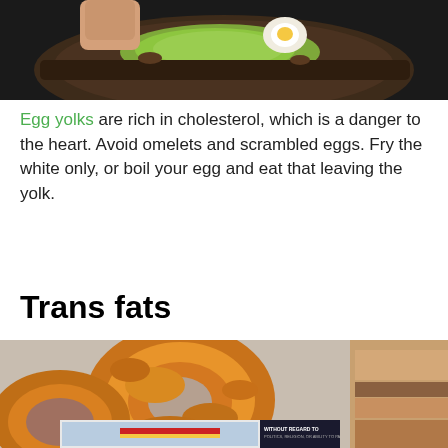[Figure (photo): Close-up of a hand holding a slice of dark bread topped with mashed avocado and a halved egg, on a black background.]
Egg yolks are rich in cholesterol, which is a danger to the heart. Avoid omelets and scrambled eggs. Fry the white only, or boil your egg and eat that leaving the yolk.
Trans fats
[Figure (photo): Close-up photograph of golden fried onion rings with crispy batter, with a sandwich visible in the background.]
[Figure (photo): Advertisement banner showing an airplane with text 'WITHOUT REGARD TO POLITICS, RELIGION, OR ABILITY TO PAY'.]